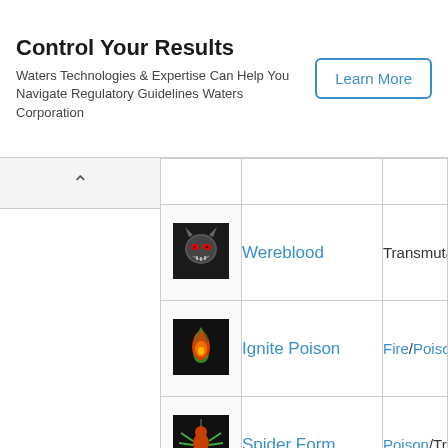[Figure (infographic): Advertisement banner: 'Control Your Results' with subtitle 'Waters Technologies & Expertise Can Help You Navigate Regulatory Guidelines Waters Corporation' and a 'Learn More' button]
| Icon | Name | Type |
| --- | --- | --- |
| [empty] |  |  |
| [wereblood icon] | Wereblood | Transmutation |
| [ignite poison icon] | Ignite Poison | Fire/Poison/Transm... |
| [spider form icon] | Spider Form | Poison/Transmutat... |
| [ice form icon] | Ice Form | Ice/Transmutation |